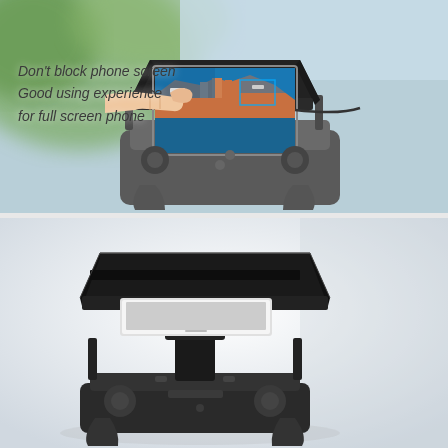[Figure (photo): Photo of a drone remote controller with a black sun hood/visor attached over a smartphone showing an aerial view of a harbor. A finger is touching the phone screen. Green blurred plants visible in background.]
Don't block phone screen
Good using experience
for full screen phone
[Figure (photo): Photo of a black foldable phone sun shade/hood mounted on a DJI drone remote controller on a white background. A white smartphone is visible inside the shade.]